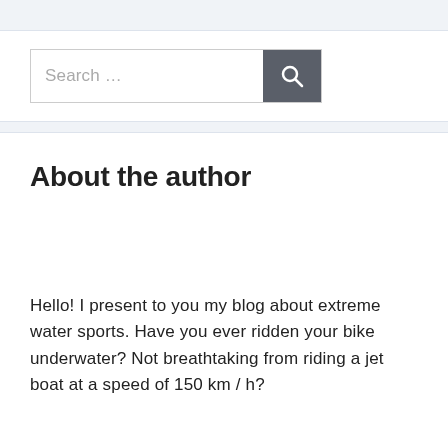[Figure (screenshot): Search bar with text placeholder 'Search …' and a dark grey search button with magnifying glass icon]
About the author
Hello! I present to you my blog about extreme water sports. Have you ever ridden your bike underwater? Not breathtaking from riding a jet boat at a speed of 150 km / h?